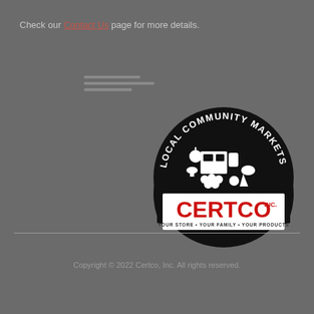Check our Contact Us page for more details.
[Figure (logo): Certco Inc. Local Community Markets logo — black semi-circle badge with white text 'LOCAL COMMUNITY MARKETS' arched along top, grocery/produce illustration in center, red 'CERTCO INC.' text in white rectangle, tagline 'YOUR STORE • YOUR FAMILY • YOUR PRODUCTS' at bottom.]
Copyright © 2022 Certco, Inc. All rights reserved.